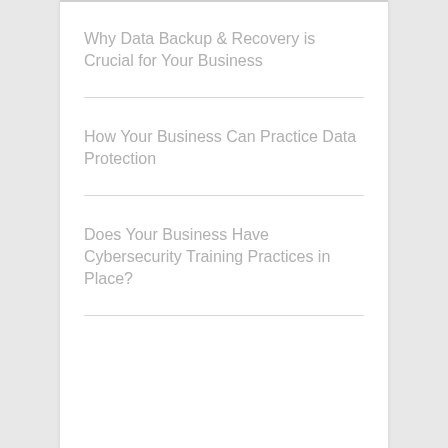Why Data Backup & Recovery is Crucial for Your Business
How Your Business Can Practice Data Protection
Does Your Business Have Cybersecurity Training Practices in Place?